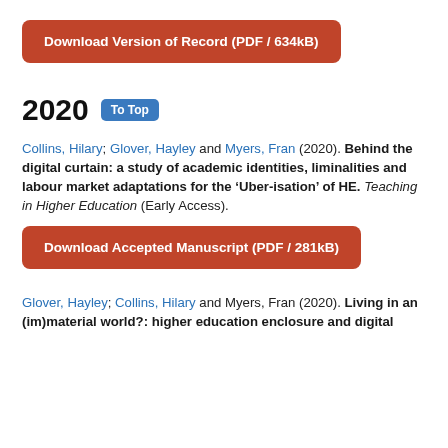Download Version of Record (PDF / 634kB)
2020
Collins, Hilary; Glover, Hayley and Myers, Fran (2020). Behind the digital curtain: a study of academic identities, liminalities and labour market adaptations for the ‘Uber-isation’ of HE. Teaching in Higher Education (Early Access).
Download Accepted Manuscript (PDF / 281kB)
Glover, Hayley; Collins, Hilary and Myers, Fran (2020). Living in an (im)material world?: higher education enclosure and digital